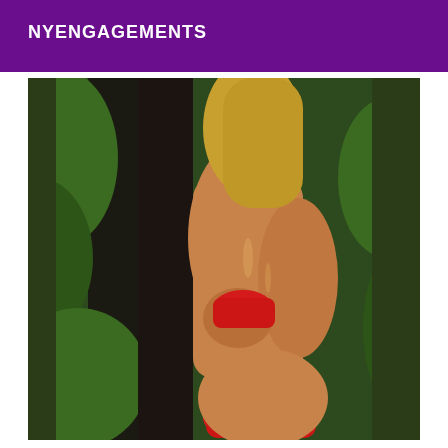NYENGAGEMENTS
[Figure (photo): A person in a red bikini standing outdoors among tropical green foliage, photographed from the neck down.]